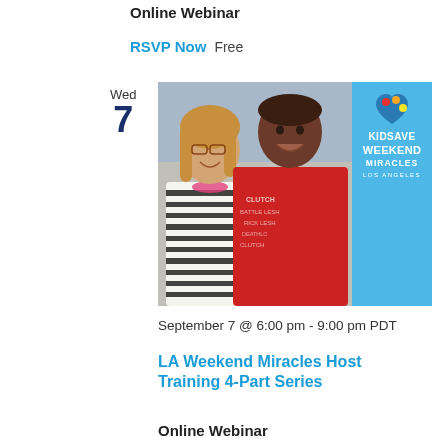Online Webinar
RSVP Now   Free
[Figure (photo): Photo of a woman in a black-and-white striped shirt and a young man in a red graphic t-shirt smiling together, with the Kidsave Weekend Miracles Los Angeles logo on the right side on a blue background.]
September 7 @ 6:00 pm - 9:00 pm PDT
LA Weekend Miracles Host Training 4-Part Series
Online Webinar